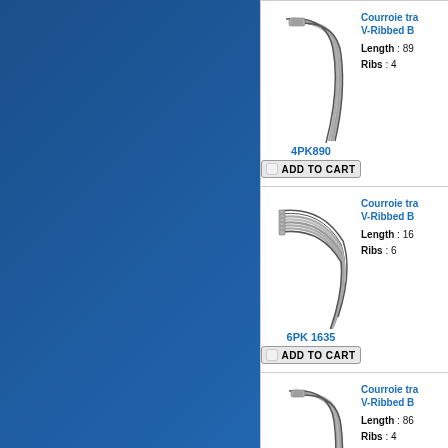[Figure (illustration): Blue decorative panel on the left side of the page]
[Figure (illustration): V-Ribbed Belt 4PK890 product image with add to cart button]
Courroie tra... V-Ribbed B... Length : 890 Ribs : 4
[Figure (illustration): V-Ribbed Belt 6PK 1635 product image with add to cart button]
Courroie tra... V-Ribbed B... Length : 1635 Ribs : 6
[Figure (illustration): V-Ribbed Belt 4 PK 865 product image with add to cart button]
Courroie tra... V-Ribbed B... Length : 865 Ribs : 4